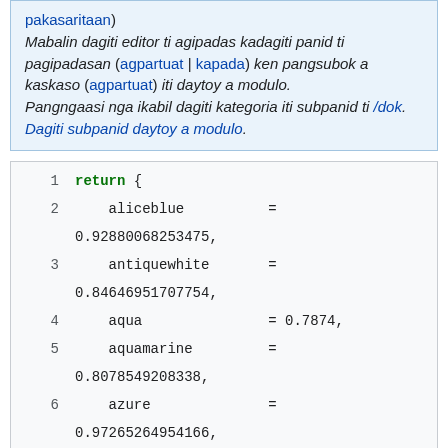pakasaritaan) Mabalin dagiti editor ti agipadas kadagiti panid ti pagipadasan (agpartuat | kapada) ken pangsubok a kaskaso (agpartuat) iti daytoy a modulo. Pangngaasi nga ikabil dagiti kategoria iti subpanid ti /dok. Dagiti subpanid daytoy a modulo.
[Figure (screenshot): Code block showing Lua/module code with line numbers 1-6, defining a return table with color values: aliceblue=0.92880068253475, antiquewhite=0.84646951707754, aqua=0.7874, aquamarine=0.8078549208338, azure=0.97265264954166]